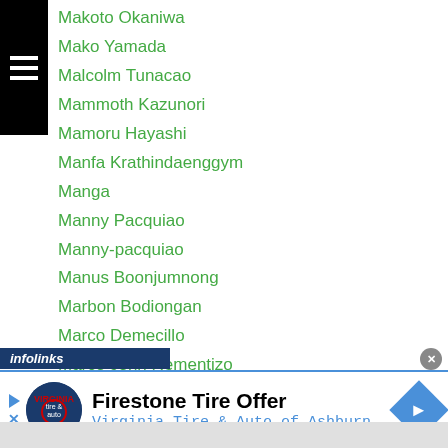Makoto Okaniwa
Mako Yamada
Malcolm Tunacao
Mammoth Kazunori
Mamoru Hayashi
Manfa Krathindaenggym
Manga
Manny Pacquiao
Manny-pacquiao
Manus Boonjumnong
Marbon Bodiongan
Marco Demecillo
Marco John Rementizo
Marcus Bellinger
Marcus Smith
Mari Ando
[Figure (screenshot): infolinks advertisement bar with Firestone Tire Offer ad for Virginia Tire & Auto of Ashburn]